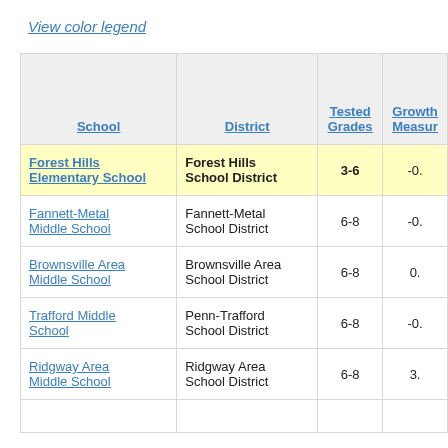View color legend
| School | District | Tested Grades | Growth Measur... |
| --- | --- | --- | --- |
| Forest Hills Elementary School | Forest Hills School District | 3-6 | -0.... |
| Fannett-Metal Middle School | Fannett-Metal School District | 6-8 | -0.... |
| Brownsville Area Middle School | Brownsville Area School District | 6-8 | 0.... |
| Trafford Middle School | Penn-Trafford School District | 6-8 | -0.... |
| Ridgway Area Middle School | Ridgway Area School District | 6-8 | 3.... |
|  |  |  |  |